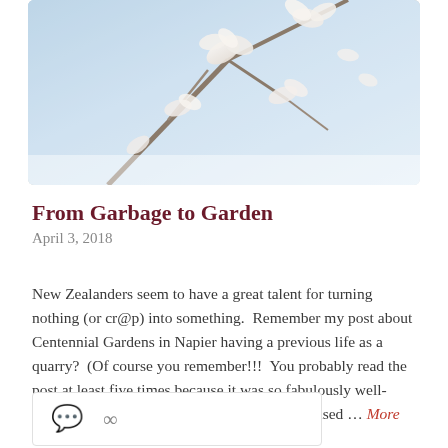[Figure (photo): Photograph of white magnolia or similar blossoms against a pale blue sky, partially cropped at top of page]
From Garbage to Garden
April 3, 2018
New Zealanders seem to have a great talent for turning nothing (or cr@p) into something.  Remember my post about Centennial Gardens in Napier having a previous life as a quarry?  (Of course you remember!!!  You probably read the post at least five times because it was so fabulously well-written.)  Well once again, New Zealand surprised … More